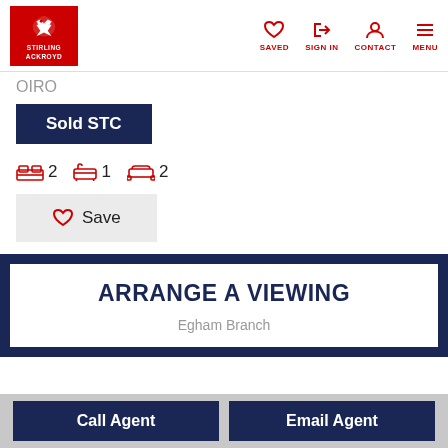STIRLING ACKROYD — SAVED | SIGN IN | CONTACT | MENU
OIRO
Sold STC
2 bedrooms, 1 bathroom, 2 reception rooms
Save
ARRANGE A VIEWING
Egham Branch
Call Agent
Email Agent